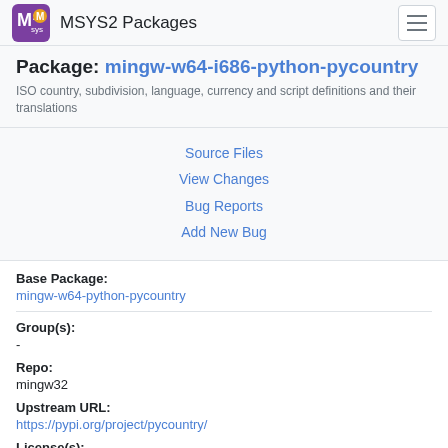MSYS2 Packages
Package: mingw-w64-i686-python-pycountry
ISO country, subdivision, language, currency and script definitions and their translations
Source Files
View Changes
Bug Reports
Add New Bug
Base Package:
mingw-w64-python-pycountry
Group(s):
-
Repo:
mingw32
Upstream URL:
https://pypi.org/project/pycountry/
License(s):
LGPL2.1